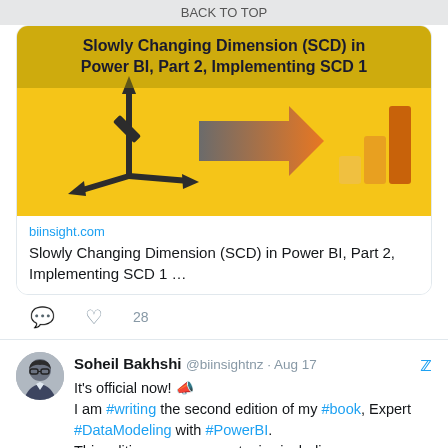BACK TO TOP
[Figure (screenshot): Link preview card for biinsight.com article: Slowly Changing Dimension (SCD) in Power BI, Part 2, Implementing SCD 1. Yellow background with arrow and Power BI logo graphic.]
biinsight.com
Slowly Changing Dimension (SCD) in Power BI, Part 2, Implementing SCD 1 …
28 likes
Soheil Bakhshi @biinsightnz · Aug 17
It's official now! 📣
I am #writing the second edition of my #book, Expert #DataModeling with #PowerBI.
This edition covers many topics including #StarSchema #M #DAX #PowerQuery #RLS #OLS #DataFlows #DataMarts and more